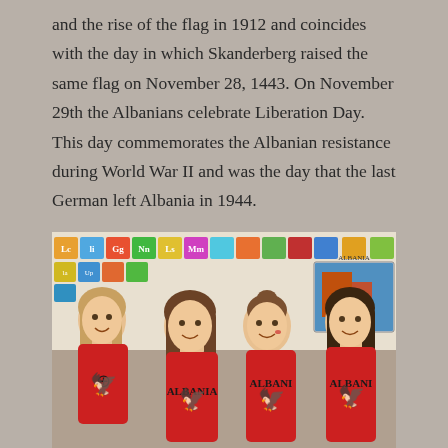and the rise of the flag in 1912 and coincides with the day in which Skanderberg raised the same flag on November 28, 1443. On November 29th the Albanians celebrate Liberation Day. This day commemorates the Albanian resistance during World War II and was the day that the last German left Albania in 1944.
[Figure (photo): Four young girls wearing red Albania t-shirts with the double-headed eagle emblem, standing together in what appears to be a classroom with educational posters on the wall behind them.]